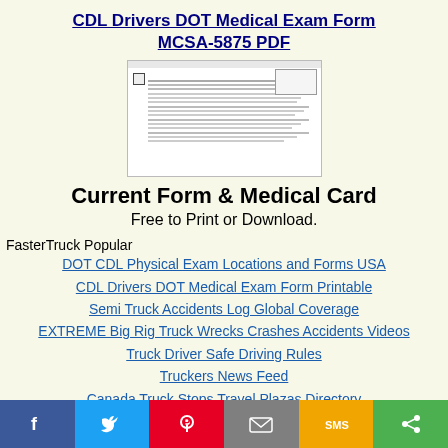CDL Drivers DOT Medical Exam Form MCSA-5875 PDF
[Figure (screenshot): Thumbnail preview of the MCSA-5875 DOT Medical Exam form document]
Current Form & Medical Card
Free to Print or Download.
FasterTruck Popular
DOT CDL Physical Exam Locations and Forms USA
CDL Drivers DOT Medical Exam Form Printable
Semi Truck Accidents Log Global Coverage
EXTREME Big Rig Truck Wrecks Crashes Accidents Videos
Truck Driver Safe Driving Rules
Truckers News Feed
Canada Truck Stops Travel Plazas Directory
Social share bar: Facebook, Twitter, Pinterest, Email, SMS, Share